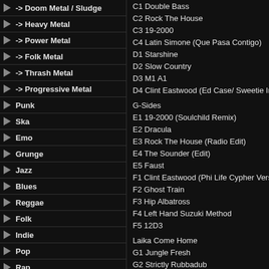-> Doom Metal / Sludge
-> Heavy Metal
-> Power Metal
-> Folk Metal
-> Thrash Metal
-> Progressive Metal
Punk
Ska
Emo
Grunge
Jazz
Blues
Reggae
Folk
Indie
Pop
Rap
Chanson
Soundtrack
Video
Live
Clip
C1 Double Bass
C2 Rock The House
C3 19-2000
C4 Latin Simone (Que Pasa Contigo)
D1 Starshine
D2 Slow Country
D3 M1 A1
D4 Clint Eastwood (Ed Case/ Sweetie Irie Refix)
G-Sides
E1 19-2000 (Soulchild Remix)
E2 Dracula
E3 Rock The House (Radio Edit)
E4 The Sounder (Edit)
E5 Faust
F1 Clint Eastwood (Phi Life Cypher Version)
F2 Ghost Train
F3 Hip Albatross
F4 Left Hand Suzuki Method
F5 12D3
Laika Come Home
G1 Jungle Fresh
G2 Strictly Rubbadub
G3 Ba?ana Baby